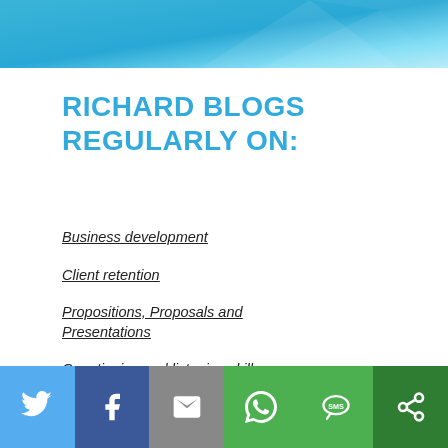[Figure (illustration): Blue gradient banner at the top of the page]
RICHARD BLOGS REGULARLY ON:
Business development
Client retention
Propositions, Proposals and Presentations
Questioning and listening skills
Sales techniques
[Figure (infographic): Social sharing bar with Twitter, Facebook, Email, WhatsApp, SMS, and More icons]